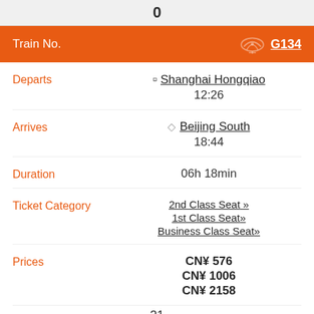0
| Field | Value |
| --- | --- |
| Train No. | G134 |
| Departs | Shanghai Hongqiao 12:26 |
| Arrives | Beijing South 18:44 |
| Duration | 06h 18min |
| Ticket Category | 2nd Class Seat » / 1st Class Seat» / Business Class Seat» |
| Prices | CN¥576 / CN¥1006 / CN¥2158 |
21